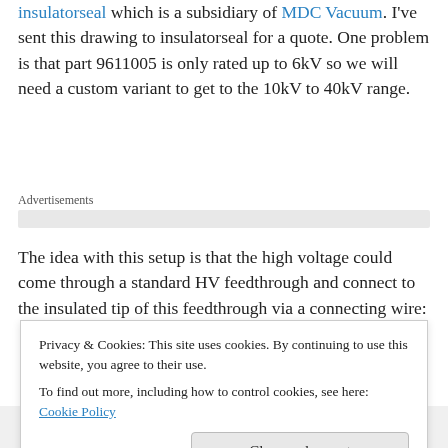insulatorseal which is a subsidiary of MDC Vacuum. I've sent this drawing to insulatorseal for a quote. One problem is that part 9611005 is only rated up to 6kV so we will need a custom variant to get to the 10kV to 40kV range.
Advertisements
The idea with this setup is that the high voltage could come through a standard HV feedthrough and connect to the insulated tip of this feedthrough via a connecting wire:
Privacy & Cookies: This site uses cookies. By continuing to use this website, you agree to their use.
To find out more, including how to control cookies, see here: Cookie Policy
[Figure (photo): Handwritten diagram or sketch at the bottom of the page showing a schematic drawing with text '← LN2 1000 through']